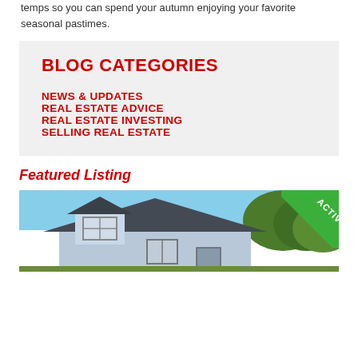temps so you can spend your autumn enjoying your favorite seasonal pastimes.
BLOG CATEGORIES
NEWS & UPDATES
REAL ESTATE ADVICE
REAL ESTATE INVESTING
SELLING REAL ESTATE
Featured Listing
[Figure (photo): Exterior photo of a residential house with blue siding, dormer windows, and dark roof. Green trees visible in background. Green 'ACTIVE' banner in upper right corner.]